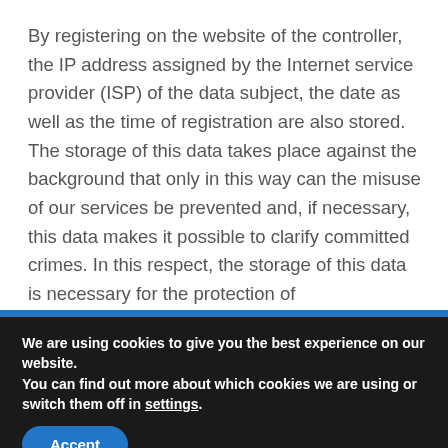By registering on the website of the controller, the IP address assigned by the Internet service provider (ISP) of the data subject, the date as well as the time of registration are also stored. The storage of this data takes place against the background that only in this way can the misuse of our services be prevented and, if necessary, this data makes it possible to clarify committed crimes. In this respect, the storage of this data is necessary for the protection of
We are using cookies to give you the best experience on our website.
You can find out more about which cookies we are using or switch them off in settings.
Accept